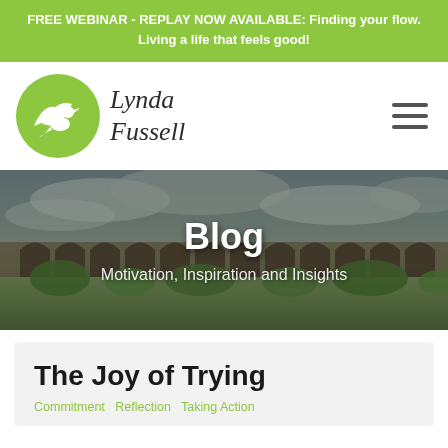FREE WEBINAR - REPLAY NOW AVAILABLE: Finding your flow. Living a life that feels good!
[Figure (logo): Lynda Fussell logo with green circle containing white bird silhouette and cursive 'Lynda Fussell' text beside it, plus hamburger menu icon]
[Figure (photo): Hero image of a stone railway viaduct with arches over green fields under cloudy sky, with overlaid text 'Blog' and 'Motivation, Inspiration and Insights']
Blog
Motivation, Inspiration and Insights
The Joy of Trying
Categories shown in green (partially visible)